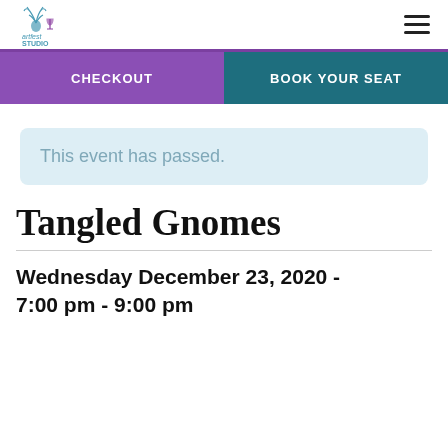Artfest Studio logo and navigation menu
CHECKOUT
BOOK YOUR SEAT
This event has passed.
Tangled Gnomes
Wednesday December 23, 2020 - 7:00 pm - 9:00 pm